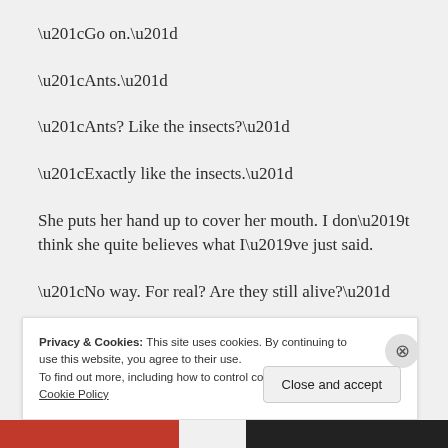“Go on.”
“Ants.”
“Ants? Like the insects?”
“Exactly like the insects.”
She puts her hand up to cover her mouth. I don’t think she quite believes what I’ve just said.
“No way. For real? Are they still alive?”
Privacy & Cookies: This site uses cookies. By continuing to use this website, you agree to their use.
To find out more, including how to control cookies, see here: Cookie Policy